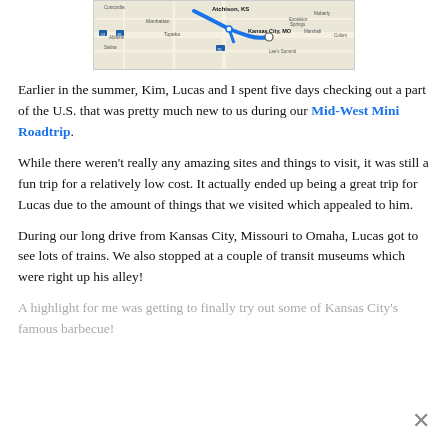[Figure (map): A road map showing Kansas, Missouri area including Atchison KS, Kansas City MO, Manhattan, Topeka, and surrounding cities with a route highlighted.]
Earlier in the summer, Kim, Lucas and I spent five days checking out a part of the U.S. that was pretty much new to us during our Mid-West Mini Roadtrip.
While there weren't really any amazing sites and things to visit, it was still a fun trip for a relatively low cost. It actually ended up being a great trip for Lucas due to the amount of things that we visited which appealed to him.
During our long drive from Kansas City, Missouri to Omaha, Lucas got to see lots of trains. We also stopped at a couple of transit museums which were right up his alley!
A highlight for me was getting to finally try out some of Kansas City's famous barbecue!